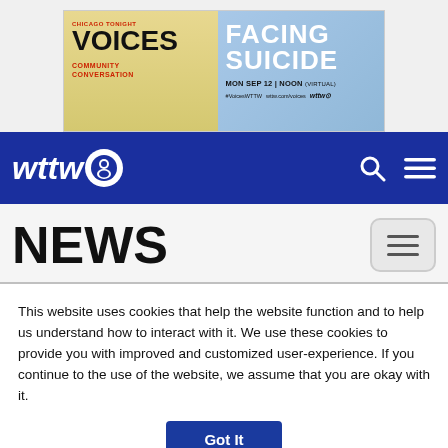[Figure (infographic): Chicago Tonight Voices Community Conversation - Facing Suicide. MON SEP 12 | NOON (VIRTUAL). #VoicesWTTW wttw.com/voices wttw logo. Advertisement banner with gradient background.]
[Figure (logo): WTTW navigation bar with wttw logo (italic white text with PBS circle logo), search icon, and hamburger menu icon on dark blue background.]
NEWS
This website uses cookies that help the website function and to help us understand how to interact with it. We use these cookies to provide you with improved and customized user-experience. If you continue to the use of the website, we assume that you are okay with it.
Got It